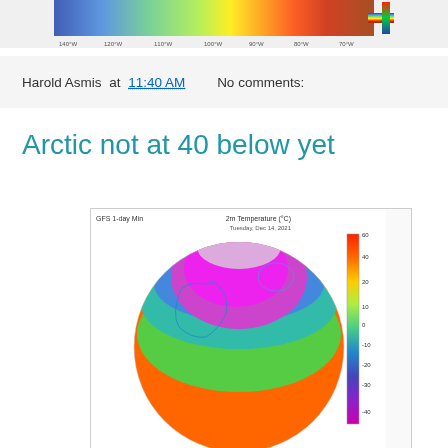[Figure (map): Top partial weather/temperature map strip showing colored temperature data with longitude labels along the bottom]
Harold Asmis at 11:40 AM   No comments:
Arctic not at 40 below yet
[Figure (map): GFS 1-day Min 2m Temperature (°C) globe map for Tuesday, Dec 14, 2021 showing Arctic region in magenta/purple (very cold) and lower latitudes in warm orange/red colors, with a temperature color scale on the right side ranging from -40 to 60°C]